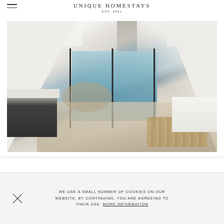UNIQUE HOMESTAYS EST. 2001
[Figure (photo): Interior photo of a modern attic living space with vaulted white ceilings, bifold black-framed doors opening to a sea view, light wood floors, a dark kitchen island with marble countertop on the left, a round dining table with wooden chairs in the center, and a white sofa with coffee table on the right. Skylights illuminate the space from above.]
WE USE A SMALL NUMBER OF COOKIES ON OUR WEBSITE. BY CONTINUING, YOU ARE AGREEING TO THEIR USE. MORE INFORMATION